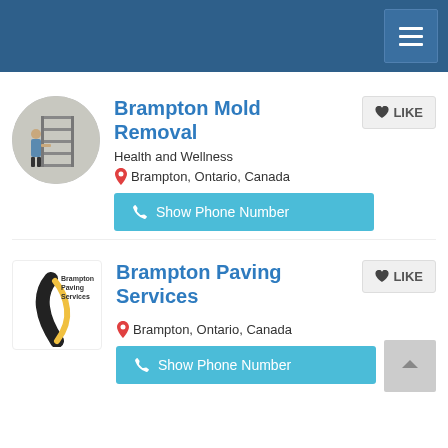Navigation header with hamburger menu
[Figure (logo): Circular logo for Brampton Mold Removal showing person working near metal shelving]
Brampton Mold Removal
Health and Wellness
Brampton, Ontario, Canada
Show Phone Number
[Figure (logo): Square logo for Brampton Paving Services showing a winding road graphic with text]
Brampton Paving Services
Brampton, Ontario, Canada
Show Phone Number